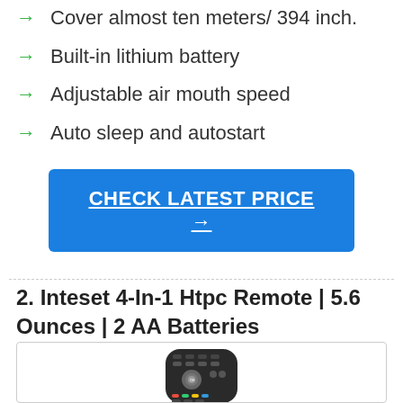Cover almost ten meters/ 394 inch.
Built-in lithium battery
Adjustable air mouth speed
Auto sleep and autostart
CHECK LATEST PRICE →
2. Inteset 4-In-1 Htpc Remote | 5.6 Ounces | 2 AA Batteries
[Figure (photo): Photo of an Inteset 4-in-1 HTPC remote control, black color with multiple buttons]